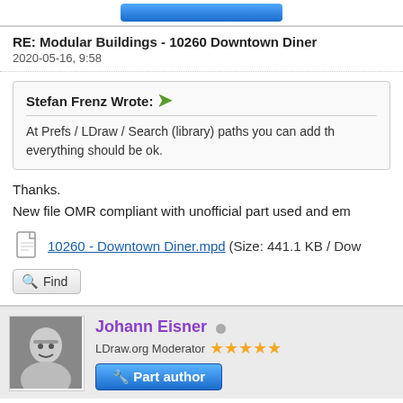RE: Modular Buildings - 10260 Downtown Diner
2020-05-16, 9:58
Stefan Frenz Wrote: At Prefs / LDraw / Search (library) paths you can add the path and everything should be ok.
Thanks.
New file OMR compliant with unofficial part used and em
10260 - Downtown Diner.mpd (Size: 441.1 KB / Dow
Find
Johann Eisner
LDraw.org Moderator ★★★★★
Part author